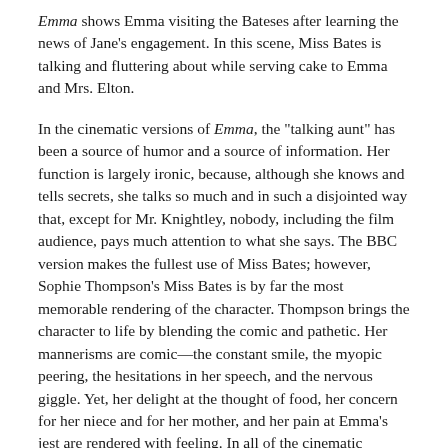Emma shows Emma visiting the Bateses after learning the news of Jane's engagement. In this scene, Miss Bates is talking and fluttering about while serving cake to Emma and Mrs. Elton.
In the cinematic versions of Emma, the "talking aunt" has been a source of humor and a source of information. Her function is largely ironic, because, although she knows and tells secrets, she talks so much and in such a disjointed way that, except for Mr. Knightley, nobody, including the film audience, pays much attention to what she says. The BBC version makes the fullest use of Miss Bates; however, Sophie Thompson's Miss Bates is by far the most memorable rendering of the character. Thompson brings the character to life by blending the comic and pathetic. Her mannerisms are comic—the constant smile, the myopic peering, the hesitations in her speech, and the nervous giggle. Yet, her delight at the thought of food, her concern for her niece and for her mother, and her pain at Emma's jest are rendered with feeling. In all of the cinematic versions, Miss Bates comes across as a very real person, with a life and feelings that are her own. She is the village Cassandra, but a pathetic and comic figure rather than a tragic one.